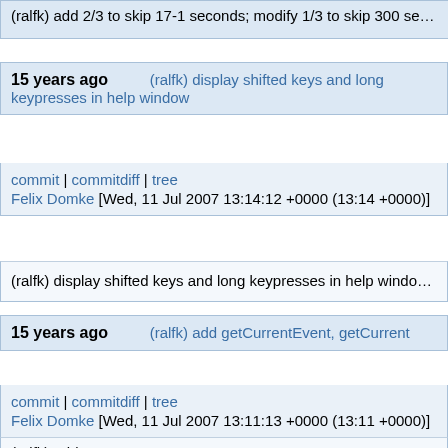(ralfk) add 2/3 to skip 17-1 seconds; modify 1/3 to skip 300 se…
15 years ago    (ralfk) display shifted keys and long keypresses in help window
commit | commitdiff | tree
Felix Domke [Wed, 11 Jul 2007 13:14:12 +0000 (13:14 +0000)]
(ralfk) display shifted keys and long keypresses in help windo…
15 years ago    (ralfk) add getCurrentEvent, getCurrent
commit | commitdiff | tree
Felix Domke [Wed, 11 Jul 2007 13:11:13 +0000 (13:11 +0000)]
(ralfk) add getCurrentEvent, getCurrent